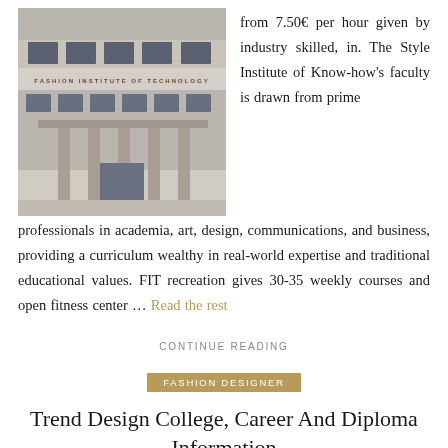[Figure (photo): Exterior photo of Fashion Institute of Technology building entrance with columns and signage reading 'FASHION INSTITUTE OF TECHNOLOGY']
from 7.50€ per hour given by industry skilled, in. The Style Institute of Know-how's faculty is drawn from prime professionals in academia, art, design, communications, and business, providing a curriculum wealthy in real-world expertise and traditional educational values. FIT recreation gives 30-35 weekly courses and open fitness center … Read the rest
CONTINUE READING
FASHION DESIGNER
Trend Design College, Career And Diploma Information